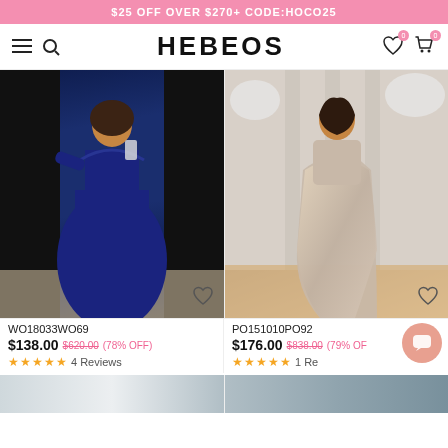$25 OFF OVER $270+ CODE:HOCO25
HEBEOS
[Figure (photo): Woman in navy blue off-shoulder lace mermaid gown taking selfie]
WO18033WO69
$138.00 $620.00 (78% OFF)
★★★★★ 4 Reviews
[Figure (photo): Woman in silver/beige sparkly beaded gown at floral backdrop]
PO151010PO92
$176.00 $838.00 (79% OFF)
★★★★★ 1 Re...